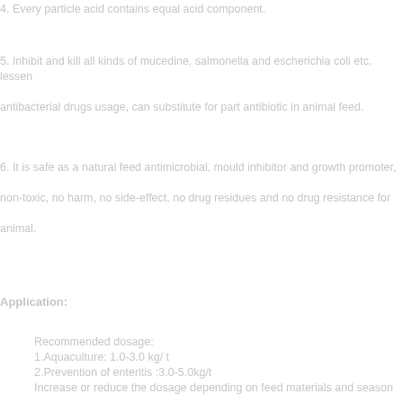4. Every particle acid contains equal acid component.
5. Inhibit and kill all kinds of mucedine, salmonella and escherichia coli etc. lessen antibacterial drugs usage, can substitute for part antibiotic in animal feed.
6. It is safe as a natural feed antimicrobial, mould inhibitor and growth promoter, non-toxic, no harm, no side-effect, no drug residues and no drug resistance for animal.
Application:
Recommended dosage:
1.Aquaculture: 1.0-3.0 kg/ t
2.Prevention of enteritis :3.0-5.0kg/t
Increase or reduce the dosage depending on feed materials and season